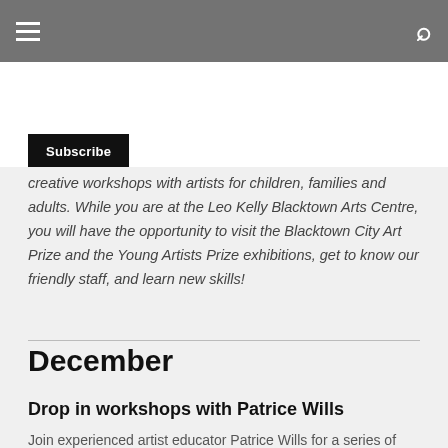≡  🔍
Subscribe
creative workshops with artists for children, families and adults. While you are at the Leo Kelly Blacktown Arts Centre, you will have the opportunity to visit the Blacktown City Art Prize and the Young Artists Prize exhibitions, get to know our friendly staff, and learn new skills!
December
Drop in workshops with Patrice Wills
Join experienced artist educator Patrice Wills for a series of